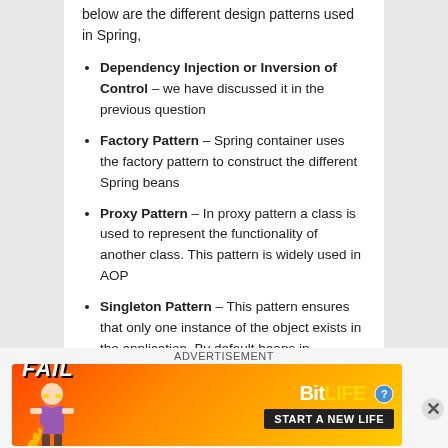below are the different design patterns used in Spring,
Dependency Injection or Inversion of Control – we have discussed it in the previous question
Factory Pattern – Spring container uses the factory pattern to construct the different Spring beans
Proxy Pattern – In proxy pattern a class is used to represent the functionality of another class. This pattern is widely used in AOP
Singleton Pattern – This pattern ensures that only one instance of the object exists in the application. By default beans in
ADVERTISEMENT
[Figure (illustration): BitLife advertisement banner with fail text, animated person, and 'Start a New Life' call-to-action on a fire background]